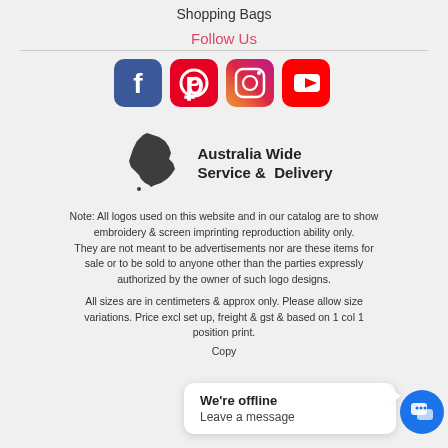Shopping Bags
Follow Us
[Figure (logo): Social media icons: Facebook, Pinterest, Instagram, YouTube]
[Figure (infographic): Australia map silhouette with text: Australia Wide Service & Delivery]
Note: All logos used on this website and in our catalog are to show embroidery & screen imprinting reproduction ability only. They are not meant to be advertisements nor are these items for sale or to be sold to anyone other than the parties expressly authorized by the owner of such logo designs.
All sizes are in centimeters & approx only. Please allow size variations. Price excl set up, freight & gst & based on 1 col 1 position print.
Copy...
We're offline
Leave a message